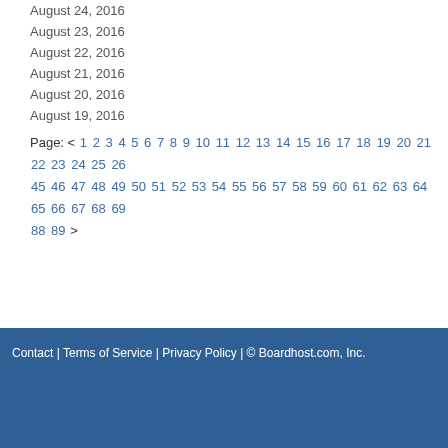August 24, 2016
August 23, 2016
August 22, 2016
August 21, 2016
August 20, 2016
August 19, 2016
Page: < 1 2 3 4 5 6 7 8 9 10 11 12 13 14 15 16 17 18 19 20 21 22 23 24 25 26 ... 45 46 47 48 49 50 51 52 53 54 55 56 57 58 59 60 61 62 63 64 65 66 67 68 69 7... 88 89 >
Contact | Terms of Service | Privacy Policy | © Boardhost.com, Inc.  Th...